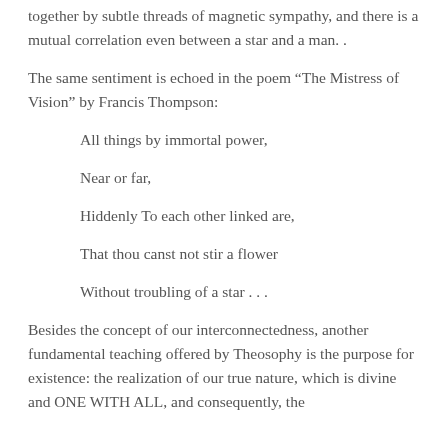together by subtle threads of magnetic sympathy, and there is a mutual correlation even between a star and a man. .
The same sentiment is echoed in the poem “The Mistress of Vision” by Francis Thompson:
All things by immortal power,
Near or far,
Hiddenly To each other linked are,
That thou canst not stir a flower
Without troubling of a star . . .
Besides the concept of our interconnectedness, another fundamental teaching offered by Theosophy is the purpose for existence: the realization of our true nature, which is divine and ONE WITH ALL, and consequently, the